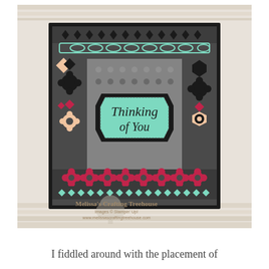[Figure (photo): A handmade greeting card with dark charcoal background featuring decorative die-cut borders in mint green, crimson/magenta, and peach colors. The card has geometric and floral patterns. In the center is a black-framed octagonal label on a mint green background with the text 'Thinking of You' in elegant script. A watermark reads 'Melissa's Crafting Treehouse' with website www.melissascraftingtreehouse.com. The card is photographed on a white wood surface.]
I fiddled around with the placement of